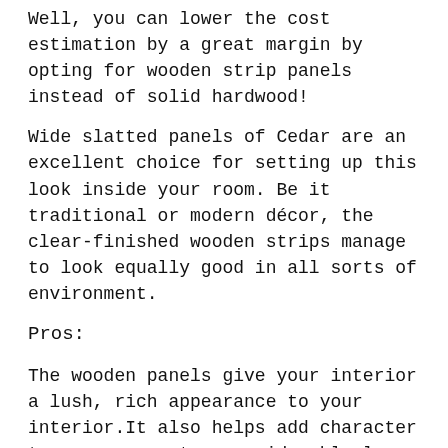Well, you can lower the cost estimation by a great margin by opting for wooden strip panels instead of solid hardwood!
Wide slatted panels of Cedar are an excellent choice for setting up this look inside your room. Be it traditional or modern décor, the clear-finished wooden strips manage to look equally good in all sorts of environment.
Pros:
The wooden panels give your interior a lush, rich appearance to your interior.It also helps add character to your room at a considerably low price.
Cons:
It might absorb moisture over time and get damaged